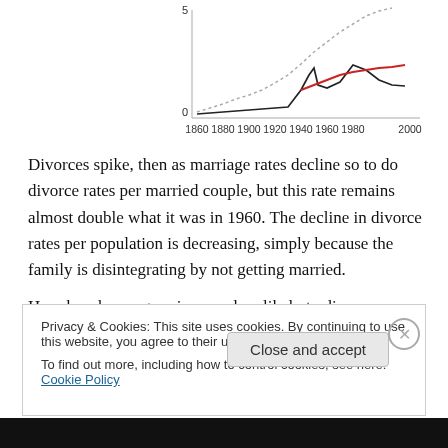[Figure (continuous-plot): Line chart showing divorce/marriage rates from 1860 to ~2005. A dotted line rises steeply, a solid black line rises moderately with a spike around 1945, and a red line shows a diverging trend from ~1940 onward. Y-axis shows values 0 to 5. X-axis labels: 1860, 1880, 1900, 1920, 1940, 1960, 1980, 2000.]
Divorces spike, then as marriage rates decline so to do divorce rates per married couple, but this rate remains almost double what it was in 1960. The decline in divorce rates per population is decreasing, simply because the family is disintegrating by not getting married.
He asks why progressives are less likely to divorce:
Privacy & Cookies: This site uses cookies. By continuing to use this website, you agree to their use.
To find out more, including how to control cookies, see here: Cookie Policy